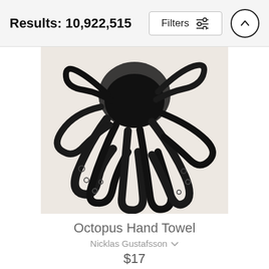Results: 10,922,515
[Figure (screenshot): Filters button with sliders icon and up arrow button]
[Figure (photo): Black and white close-up photograph of octopus tentacles]
Octopus Hand Towel
Nicklas Gustafsson
$17
[Figure (photo): Black and white photograph of a windswept tree against misty sky]